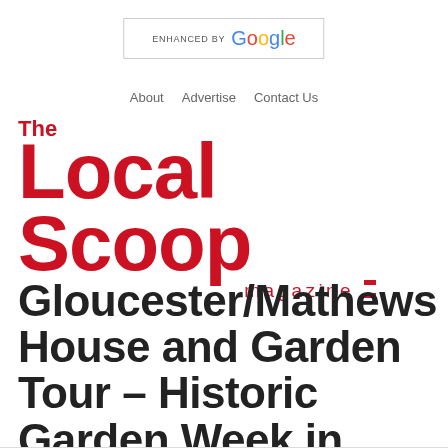[Figure (logo): ENHANCED BY Google search box with Google logo text in multicolor]
About   Advertise   Contact Us
[Figure (logo): The Local Scoop magazine logo in red with hamburger menu icon]
Gloucester/Mathews House and Garden Tour – Historic Garden Week in Virginia